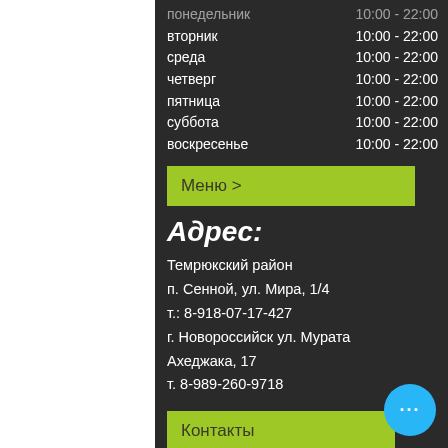понедельник  10:00 - 22:00
вторник  10:00 - 22:00
среда  10:00 - 22:00
четверг  10:00 - 22:00
пятница  10:00 - 22:00
суббота  10:00 - 22:00
воскресенье  10:00 - 22:00
Меню >
Адрес:
Темрюкский район
п. Сенной, ул. Мира, 1/4
т.: 8-918-07-17-427
г. Новороссийск ул. Мурата Ахеджака, 17
т. 8-989-260-9718
Контакты